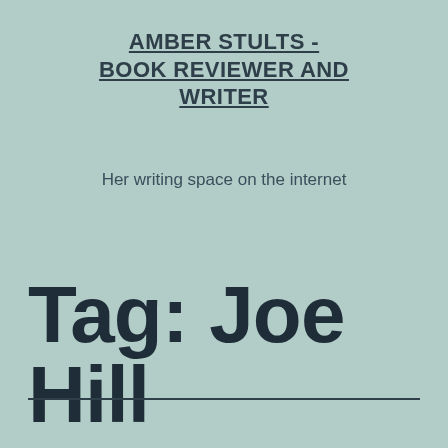AMBER STULTS - BOOK REVIEWER AND WRITER
Her writing space on the internet
Tag: Joe Hill